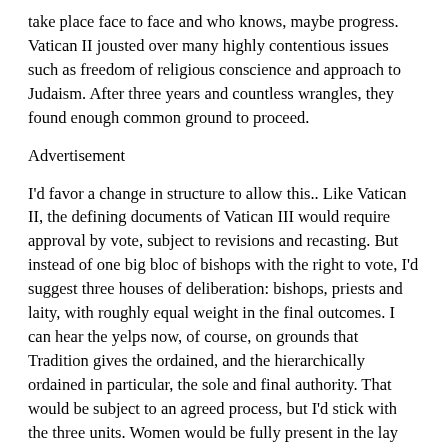take place face to face and who knows, maybe progress. Vatican II jousted over many highly contentious issues such as freedom of religious conscience and approach to Judaism. After three years and countless wrangles, they found enough common ground to proceed.
Advertisement
I'd favor a change in structure to allow this.. Like Vatican II, the defining documents of Vatican III would require approval by vote, subject to revisions and recasting. But instead of one big bloc of bishops with the right to vote, I'd suggest three houses of deliberation: bishops, priests and laity, with roughly equal weight in the final outcomes. I can hear the yelps now, of course, on grounds that Tradition gives the ordained, and the hierarchically ordained in particular, the sole and final authority. That would be subject to an agreed process, but I'd stick with the three units. Women would be fully present in the lay unit, of course, and somehow the views of all three branches would be recognized.
The results of even holding an elevated effort to reach consensus on vital differences that are hampering the church could have its most profound effect on young people. They may see a great deal of fragmented, bickering religion around,